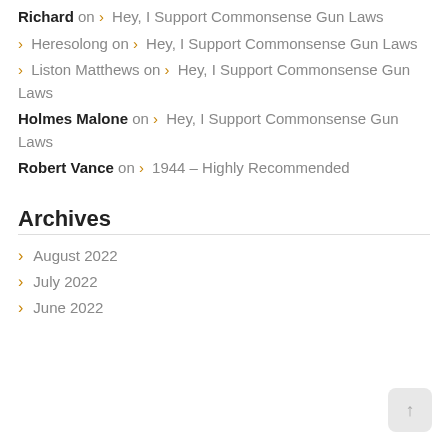Richard on › Hey, I Support Commonsense Gun Laws
› Heresolong on › Hey, I Support Commonsense Gun Laws
› Liston Matthews on › Hey, I Support Commonsense Gun Laws
Holmes Malone on › Hey, I Support Commonsense Gun Laws
Robert Vance on › 1944 – Highly Recommended
Archives
› August 2022
› July 2022
› June 2022